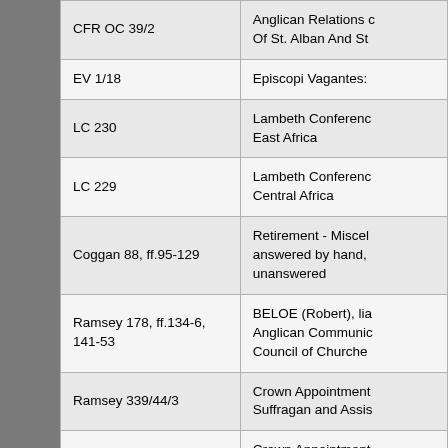| Reference | Description |
| --- | --- |
| CFR OC 39/2 | Anglican Relations c Of St. Alban And St |
| EV 1/18 | Episcopi Vagantes: |
| LC 230 | Lambeth Conferenc East Africa |
| LC 229 | Lambeth Conferenc Central Africa |
| Coggan 88, ff.95-129 | Retirement - Miscel answered by hand, unanswered |
| Ramsey 178, ff.134-6, 141-53 | BELOE (Robert), lia Anglican Communic Council of Churche |
| Ramsey 339/44/3 | Crown Appointment Suffragan and Assis |
| Ramsey 339/45/2 | Crown Appointment Suffragan and Assis Dioceses: Ely-Guil |
| Ramsey 339/44/2 | Crown Appointment |